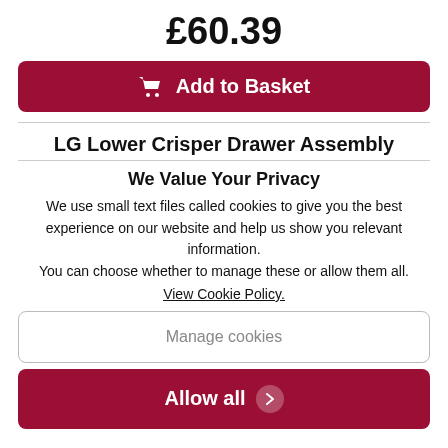£60.39
Add to Basket
LG Lower Crisper Drawer Assembly
We Value Your Privacy
We use small text files called cookies to give you the best experience on our website and help us show you relevant information.
You can choose whether to manage these or allow them all.
View Cookie Policy.
Manage cookies
Allow all